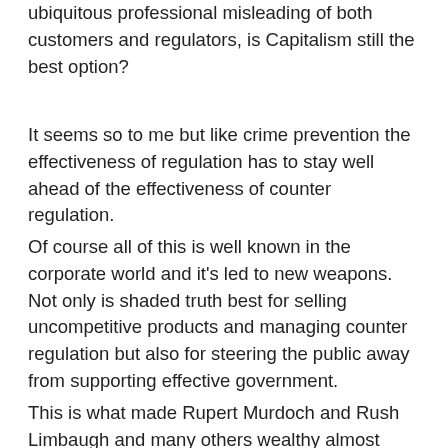ubiquitous professional misleading of both customers and regulators, is Capitalism still the best option?
It seems so to me but like crime prevention the effectiveness of regulation has to stay well ahead of the effectiveness of counter regulation.
Of course all of this is well known in the corporate world and it’s led to new weapons. Not only is shaded truth best for selling uncompetitive products and managing counter regulation but also for steering the public away from supporting effective government.
This is what made Rupert Murdoch and Rush Limbaugh and many others wealthy almost